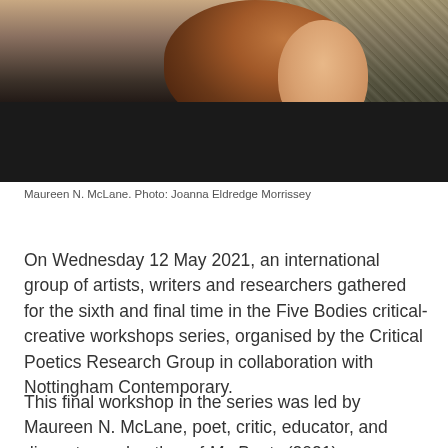[Figure (photo): Portrait photograph of Maureen N. McLane, showing the back/side of her head with auburn hair, wearing a dark jacket, with a mossy stone wall in the background. Photo by Joanna Eldredge Morrissey.]
Maureen N. McLane. Photo: Joanna Eldredge Morrissey
On Wednesday 12 May 2021, an international group of artists, writers and researchers gathered for the sixth and final time in the Five Bodies critical-creative workshops series, organised by the Critical Poetics Research Group in collaboration with Nottingham Contemporary.
This final workshop in the series was led by Maureen N. McLane, poet, critic, educator, and divagator and author of My Poets (2021), an experimental hybrid of